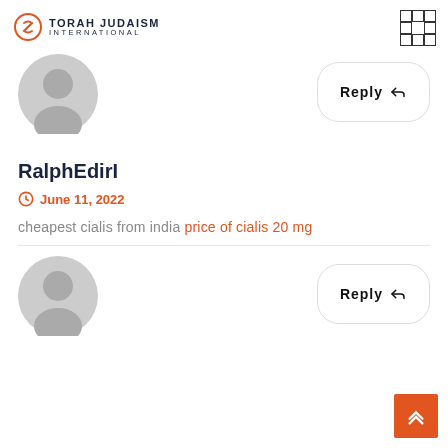TORAH JUDAISM INTERNATIONAL
[Figure (illustration): Gray default user avatar (circle head, shoulders silhouette)]
Reply
RalphEdirI
June 11, 2022
cheapest cialis from india price of cialis 20 mg
[Figure (illustration): Gray default user avatar (circle head, shoulders silhouette)]
Reply